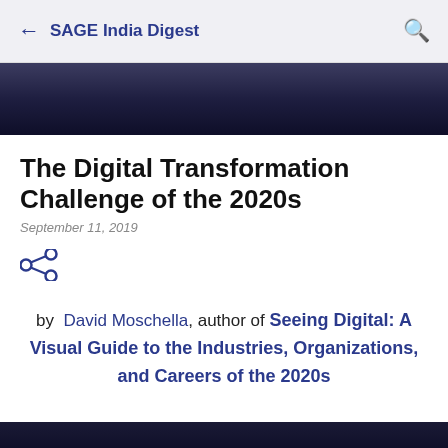← SAGE India Digest 🔍
[Figure (photo): Dark blue/navy gradient hero image background, space or night sky themed]
The Digital Transformation Challenge of the 2020s
September 11, 2019
by David Moschella, author of Seeing Digital: A Visual Guide to the Industries, Organizations, and Careers of the 2020s